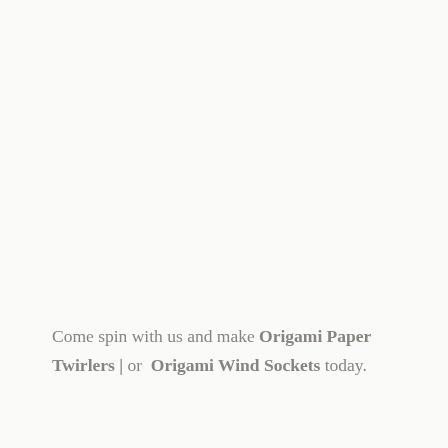Come spin with us and make Origami Paper Twirlers | or  Origami Wind Sockets today.